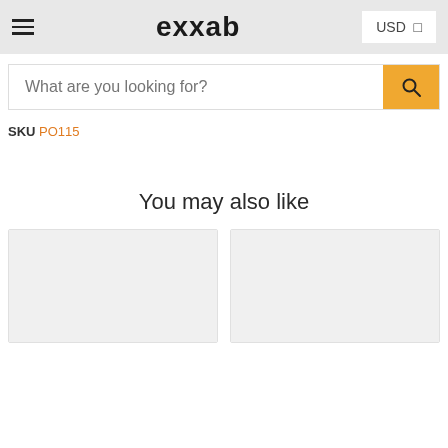exxab — USD
What are you looking for?
SKU PO115
You may also like
[Figure (photo): Two product card placeholders with light gray image areas, shown below the 'You may also like' heading.]